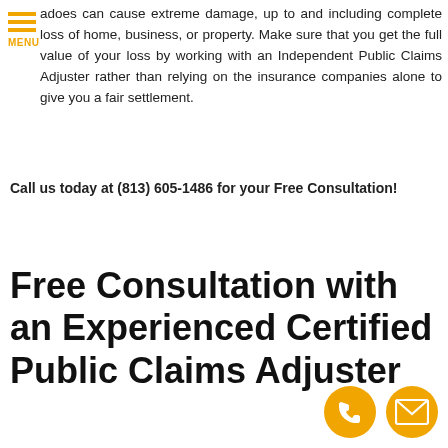MENU
adoes can cause extreme damage, up to and including complete loss of home, business, or property. Make sure that you get the full value of your loss by working with an Independent Public Claims Adjuster rather than relying on the insurance companies alone to give you a fair settlement.
Call us today at (813) 605-1486 for your Free Consultation!
Free Consultation with an Experienced Certified Public Claims Adjuster
[Figure (illustration): Orange circle with phone handset icon]
[Figure (illustration): Orange circle with envelope/mail icon]